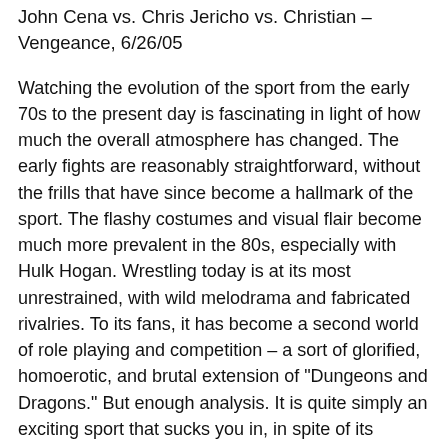John Cena vs. Chris Jericho vs. Christian – Vengeance, 6/26/05
Watching the evolution of the sport from the early 70s to the present day is fascinating in light of how much the overall atmosphere has changed. The early fights are reasonably straightforward, without the frills that have since become a hallmark of the sport. The flashy costumes and visual flair become much more prevalent in the 80s, especially with Hulk Hogan. Wrestling today is at its most unrestrained, with wild melodrama and fabricated rivalries. To its fans, it has become a second world of role playing and competition – a sort of glorified, homoerotic, and brutal extension of "Dungeons and Dragons." But enough analysis. It is quite simply an exciting sport that sucks you in, in spite of its inherent silliness, leaving your eyes transfixed on the screen until the very end.
The matches are brought to DVD in their original fullframe aspect ratios. As these were all shot on video